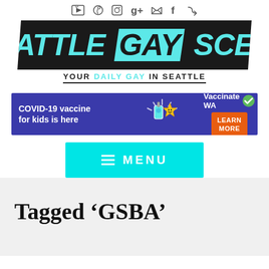Social icons: YouTube, Pinterest, Instagram, Google+, Twitter, Facebook, RSS
[Figure (logo): Seattle Gay Scene logo - black parallelogram banner with cyan italic text 'SEATTLE GAY SCENE', GAY in a cyan highlighted box]
YOUR DAILY GAY IN SEATTLE
[Figure (infographic): COVID-19 vaccine advertisement banner: 'COVID-19 vaccine for kids is here' with vaccine bottle and star character, Vaccinate WA checkmark, LEARN MORE orange button]
≡ MENU
Tagged ‘GSBA’